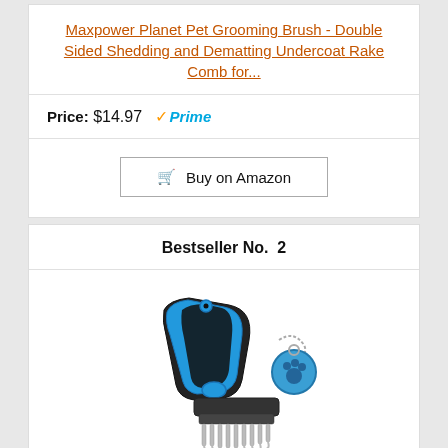Maxpower Planet Pet Grooming Brush - Double Sided Shedding and Dematting Undercoat Rake Comb for...
Price: $14.97 Prime
Buy on Amazon
Bestseller No. 2
[Figure (photo): A double-sided pet grooming brush/dematting undercoat rake comb with a blue and black ergonomic handle, showing the rake teeth side, with a small blue paw print pet tag on a ball chain next to it.]